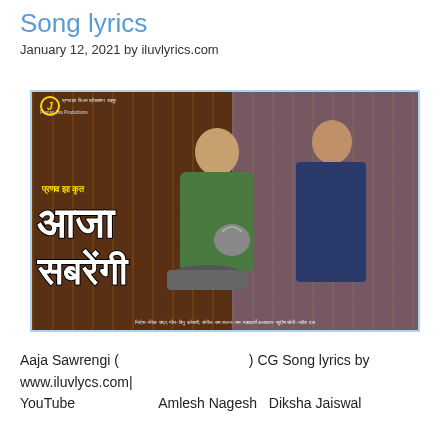Song lyrics
January 12, 2021 by iluvlyrics.com
[Figure (photo): Movie poster for 'Aaja Sawrengi' (आजा सबरेंगी) a Chhattisgarhi (CG) song. Features a young man in green shirt making tea and a young woman in blue/grey outfit. Text in Hindi/Devanagari: प्रणव झा कृत आजा सबरेंगी. Credits at bottom. Pranav Jha Productions logo top left.]
Aaja Sawrengi (                    ) CG Song lyrics by www.iluvlycs.com|
YouTube              Amlesh Nagesh   Diksha Jaiswal